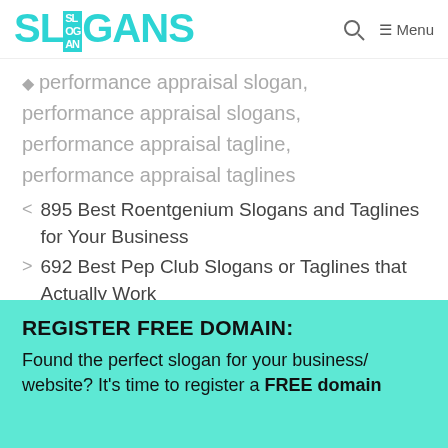SLOGANS — Menu
performance appraisal slogan, performance appraisal slogans, performance appraisal tagline, performance appraisal taglines
895 Best Roentgenium Slogans and Taglines for Your Business
692 Best Pep Club Slogans or Taglines that Actually Work
REGISTER FREE DOMAIN:
Found the perfect slogan for your business/website? It's time to register a FREE domain